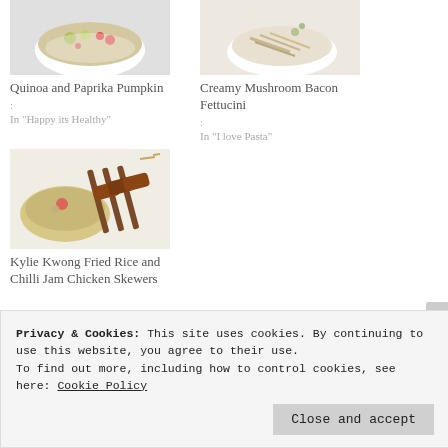[Figure (photo): Bowl of quinoa salad with vegetables on white background]
Quinoa and Paprika Pumpkin
:
In "Happy its Healthy"
[Figure (photo): Bowl of creamy mushroom fettuccini on white background]
Creamy Mushroom Bacon Fettucini
:
In "I love Pasta"
[Figure (photo): Kylie Kwong fried rice with chilli jam chicken skewers on white background]
Kylie Kwong Fried Rice and Chilli Jam Chicken Skewers
Privacy & Cookies: This site uses cookies. By continuing to use this website, you agree to their use.
To find out more, including how to control cookies, see here: Cookie Policy
Close and accept